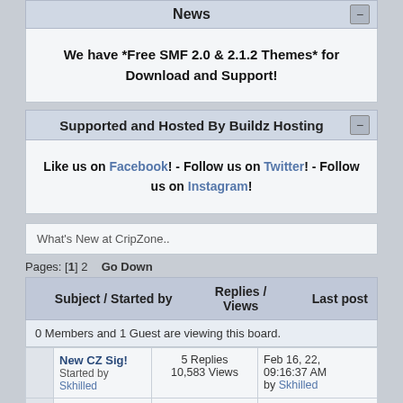News
We have *Free SMF 2.0 & 2.1.2 Themes* for Download and Support!
Supported and Hosted By Buildz Hosting
Like us on Facebook! - Follow us on Twitter! - Follow us on Instagram!
What's New at CripZone..
Pages: [1] 2   Go Down
| Subject / Started by | Replies / Views | Last post |
| --- | --- | --- |
| 0 Members and 1 Guest are viewing this board. |  |  |
| New CZ Sig!
Started by Skhilled | 5 Replies
10,583 Views | Feb 16, 22,
09:16:37 AM
by Skhilled |
| Happy Birthday,Jeff 2022!
Started by Skhilled « 1 2  All » | 11 Replies
621 Views | Jun 25, 22,
07:47:20 PM
by Skhilled |
| SMF 2.1.1 Released!
Started by | 0 Replies | Feb 13, 22,
09:34:54 AM |